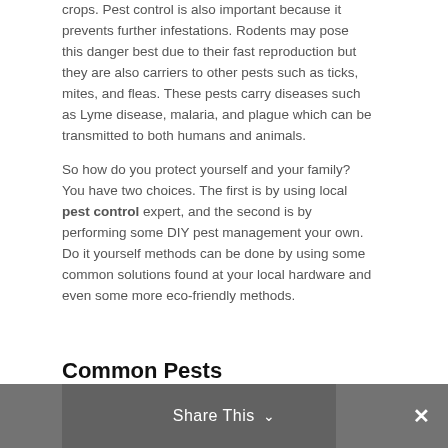crops. Pest control is also important because it prevents further infestations. Rodents may pose this danger best due to their fast reproduction but they are also carriers to other pests such as ticks, mites, and fleas. These pests carry diseases such as Lyme disease, malaria, and plague which can be transmitted to both humans and animals.
So how do you protect yourself and your family? You have two choices. The first is by using local pest control expert, and the second is by performing some DIY pest management your own. Do it yourself methods can be done by using some common solutions found at your local hardware and even some more eco-friendly methods.
Common Pests
[Figure (photo): Partial photo visible at bottom of page, dark/grey tones, partially obscured by share bar overlay]